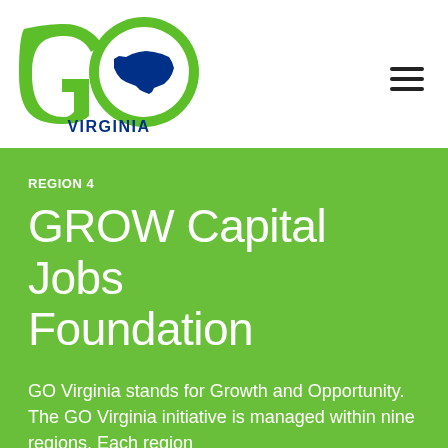[Figure (logo): GO Virginia logo — large green 'GO' letters with Virginia state silhouette inside the O, 'VIRGINIA' in dark blue below]
REGION 4
GROW Capital Jobs Foundation
GO Virginia stands for Growth and Opportunity. The GO Virginia initiative is managed within nine regions. Each region